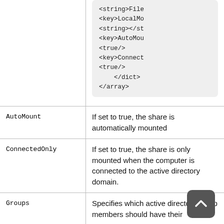| Key | Description |
| --- | --- |
| (code block) | <string>File
<key>LocalMo
<string></st
<key>AutoMou
<true/>
<key>Connect
<true/>
</dict>
</array> |
| AutoMount | If set to true, the share is automatically mounted |
| ConnectedOnly | If set to true, the share is only mounted when the computer is connected to the active directory domain. |
| Groups | Specifies which active directory group members should have their home files mounted |